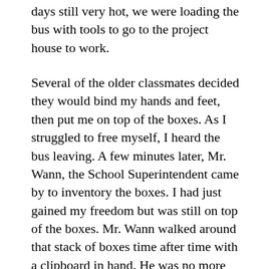days still very hot, we were loading the bus with tools to go to the project house to work.
Several of the older classmates decided they would bind my hands and feet, then put me on top of the boxes. As I struggled to free myself, I heard the bus leaving. A few minutes later, Mr. Wann, the School Superintendent came by to inventory the boxes. I had just gained my freedom but was still on top of the boxes. Mr. Wann walked around that stack of boxes time after time with a clipboard in hand. He was no more than a few feet from me at times. It was so hot laying up there, I could feel the sweat pouring off of me. My eyes would followed him as far as possible with each trip he made around the boxes. Then I would quietly roll over when I would hear him coming down the other side. I couldn't make any sudden moves. How would I explain being